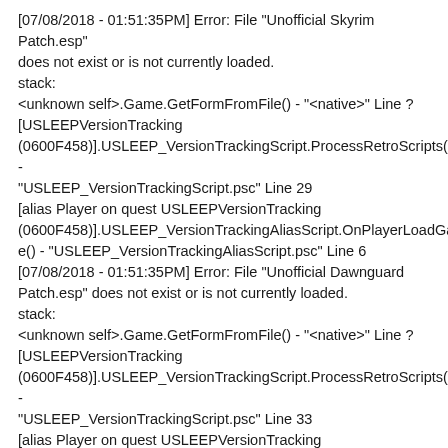[07/08/2018 - 01:51:35PM] Error: File "Unofficial Skyrim Patch.esp" does not exist or is not currently loaded.
stack:
<unknown self>.Game.GetFormFromFile() - "<native>" Line ?
[USLEEPVersionTracking (0600F458)].USLEEP_VersionTrackingScript.ProcessRetroScripts() - "USLEEP_VersionTrackingScript.psc" Line 29
[alias Player on quest USLEEPVersionTracking (0600F458)].USLEEP_VersionTrackingAliasScript.OnPlayerLoadGame() - "USLEEP_VersionTrackingAliasScript.psc" Line 6
[07/08/2018 - 01:51:35PM] Error: File "Unofficial Dawnguard Patch.esp" does not exist or is not currently loaded.
stack:
<unknown self>.Game.GetFormFromFile() - "<native>" Line ?
[USLEEPVersionTracking (0600F458)].USLEEP_VersionTrackingScript.ProcessRetroScripts() - "USLEEP_VersionTrackingScript.psc" Line 33
[alias Player on quest USLEEPVersionTracking (0600F458)].USLEEP_VersionTrackingAliasScript.OnPlayerLoadGame() - "USLEEP_VersionTrackingAliasScript.psc" Line 6
[07/08/2018 - 01:51:35PM] Error: File "Unofficial Hearthfire Patch.esp" does not exist or is not currently loaded.
stack: